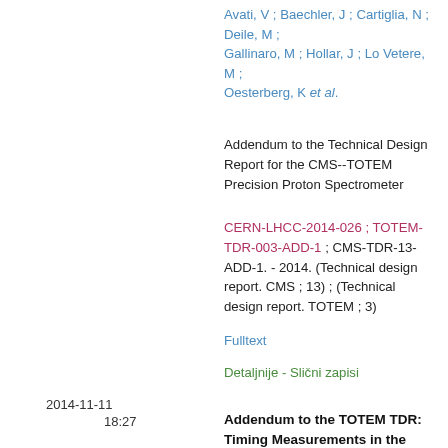Avati, V ; Baechler, J ; Cartiglia, N ; Deile, M ; Gallinaro, M ; Hollar, J ; Lo Vetere, M ; Oesterberg, K et al.
Addendum to the Technical Design Report for the CMS--TOTEM Precision Proton Spectrometer
CERN-LHCC-2014-026 ; TOTEM-TDR-003-ADD-1 ; CMS-TDR-13-ADD-1. - 2014. (Technical design report. CMS ; 13) ; (Technical design report. TOTEM ; 3)
Fulltext
Detaljnije - Slični zapisi
2014-11-11
18:27
Addendum to the TOTEM TDR: Timing Measurements in the Vertical Roman Pots of the TOTEM Experiment LHCC document CERN-LHCC-2014-020 including questions/answers from/to the referees
This document details the answer to the